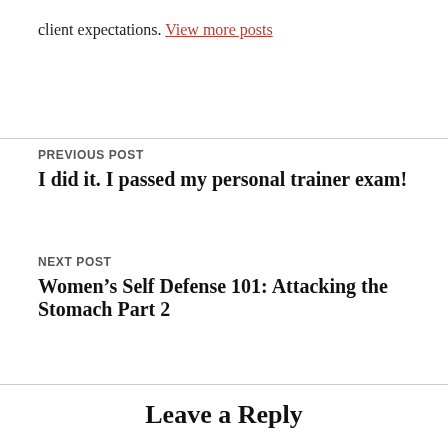client expectations. View more posts
PREVIOUS POST
I did it. I passed my personal trainer exam!
NEXT POST
Women’s Self Defense 101: Attacking the Stomach Part 2
Leave a Reply